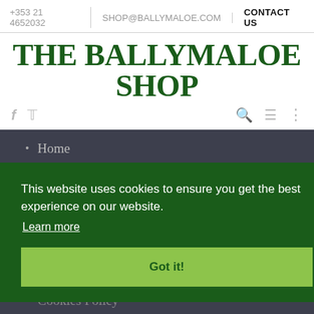+353 21 4652032 | SHOP@BALLYMALOE.COM | CONTACT US
THE BALLYMALOE SHOP
[Figure (illustration): Navigation icons: Facebook, Twitter, search, hamburger menu, vertical dots]
Home
About
Terms
This website uses cookies to ensure you get the best experience on our website. Learn more
Got it!
Cookies Policy